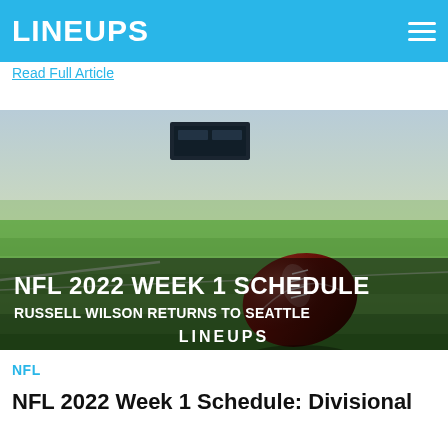LINEUPS
Read Full Article
[Figure (photo): Football on a grass field with a scoreboard in the background. Overlay text reads: NFL 2022 WEEK 1 SCHEDULE / RUSSELL WILSON RETURNS TO SEATTLE / LINEUPS]
NFL
NFL 2022 Week 1 Schedule: Divisional